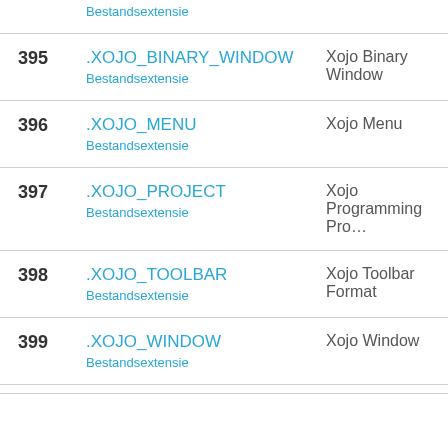| # | Extension | Description |
| --- | --- | --- |
|  | Bestandsextensie |  |
| 395 | .XOJO_BINARY_WINDOW
Bestandsextensie | Xojo Binary Window |
| 396 | .XOJO_MENU
Bestandsextensie | Xojo Menu |
| 397 | .XOJO_PROJECT
Bestandsextensie | Xojo Programming Pro… |
| 398 | .XOJO_TOOLBAR
Bestandsextensie | Xojo Toolbar Format |
| 399 | .XOJO_WINDOW
Bestandsextensie | Xojo Window |